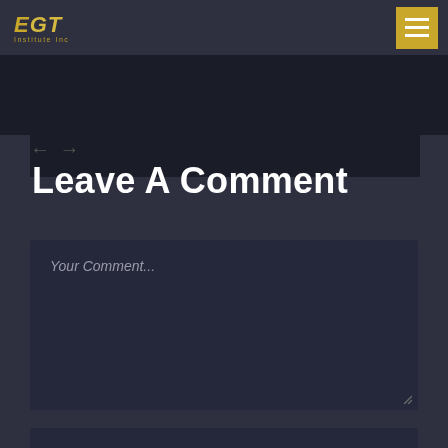EGT Institute Inc — navigation header with hamburger menu
[Figure (screenshot): Dark banner with partially visible back/forward navigation arrows in gray]
Leave A Comment
[Figure (screenshot): Comment text area input box with placeholder text 'Your Comment...' on dark background]
[Figure (screenshot): Bottom edge of another input field partially visible]